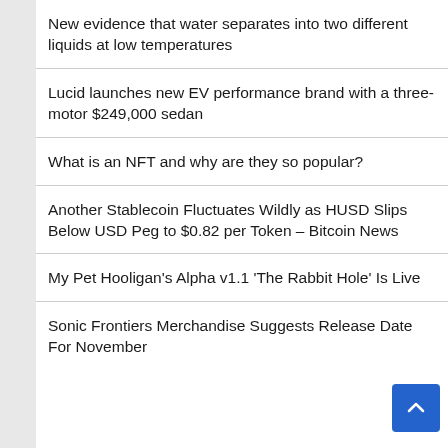New evidence that water separates into two different liquids at low temperatures
Lucid launches new EV performance brand with a three-motor $249,000 sedan
What is an NFT and why are they so popular?
Another Stablecoin Fluctuates Wildly as HUSD Slips Below USD Peg to $0.82 per Token – Bitcoin News
My Pet Hooligan's Alpha v1.1 'The Rabbit Hole' Is Live
Sonic Frontiers Merchandise Suggests Release Date For November